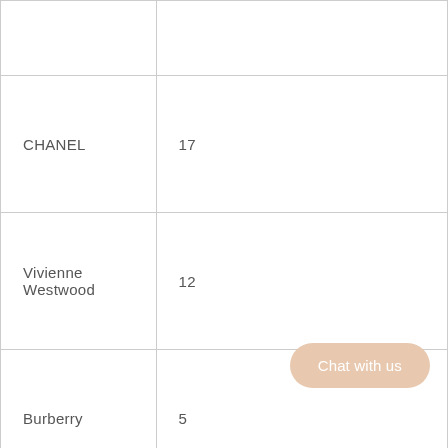|  |  |
| CHANEL | 17 |
| Vivienne Westwood | 12 |
| Burberry | 5 |
| John Galliano | 4 |